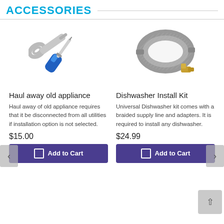ACCESSORIES
[Figure (illustration): Wrench and screwdriver crossed tools icon with blue screwdriver handle]
[Figure (photo): Braided stainless steel dishwasher supply hose with brass elbow fitting]
Haul away old appliance
Dishwasher Install Kit
Haul away of old appliance requires that it be disconnected from all utilities if installation option is not selected.
Universal Dishwasher kit comes with a braided supply line and adapters. It is required to install any dishwasher.
$15.00
$24.99
Add to Cart
Add to Cart